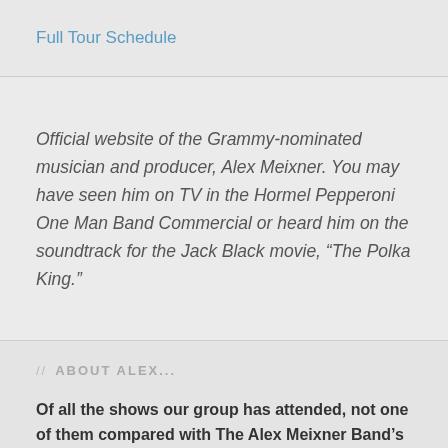Full Tour Schedule
Official website of the Grammy-nominated musician and producer, Alex Meixner. You may have seen him on TV in the Hormel Pepperoni One Man Band Commercial or heard him on the soundtrack for the Jack Black movie, “The Polka King.”
// ABOUT ALEX...
Of all the shows our group has attended, not one of them compared with The Alex Meixner Band’s